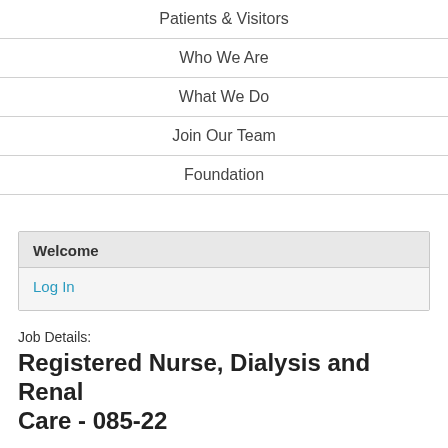Patients & Visitors
Who We Are
What We Do
Join Our Team
Foundation
Welcome
Log In
Job Details:
Registered Nurse, Dialysis and Renal Care - 085-22